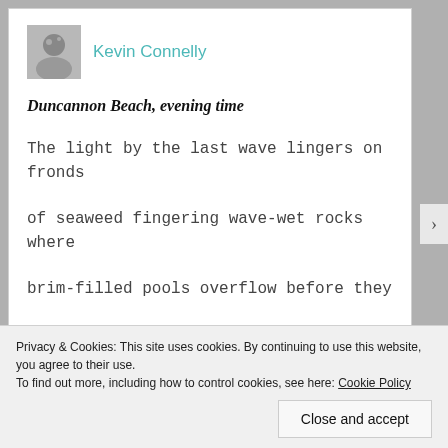[Figure (photo): Small portrait/avatar photo of author Kevin Connelly, grayscale]
Kevin Connelly
Duncannon Beach, evening time
The light by the last wave lingers on fronds
of seaweed fingering wave-wet rocks where
brim-filled pools overflow before they
Privacy & Cookies: This site uses cookies. By continuing to use this website, you agree to their use.
To find out more, including how to control cookies, see here: Cookie Policy
Close and accept